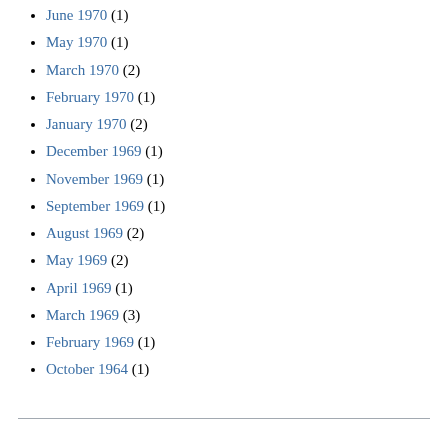June 1970 (1)
May 1970 (1)
March 1970 (2)
February 1970 (1)
January 1970 (2)
December 1969 (1)
November 1969 (1)
September 1969 (1)
August 1969 (2)
May 1969 (2)
April 1969 (1)
March 1969 (3)
February 1969 (1)
October 1964 (1)